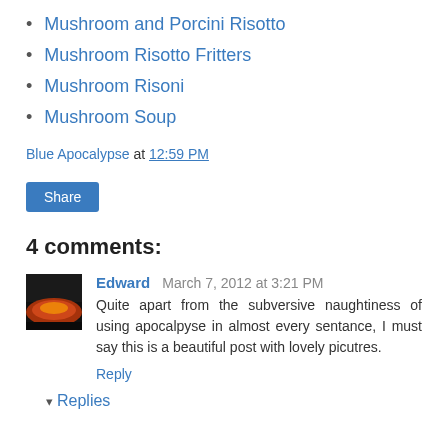Mushroom and Porcini Risotto
Mushroom Risotto Fritters
Mushroom Risoni
Mushroom Soup
Blue Apocalypse at 12:59 PM
Share
4 comments:
[Figure (photo): User avatar thumbnail showing a dark sunset/fire image with orange and red tones]
Edward  March 7, 2012 at 3:21 PM
Quite apart from the subversive naughtiness of using apocalpyse in almost every sentance, I must say this is a beautiful post with lovely picutres.
Reply
▾ Replies